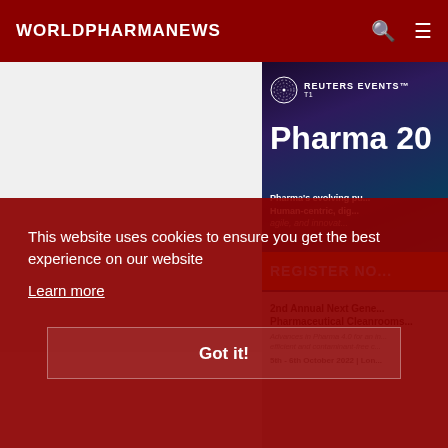WORLDPHARMANEWS
[Figure (screenshot): Reuters Events Pharma 20 advertisement banner with close-up eye background, featuring text 'Pharma 20', 'Pharma’s evolving pu...', 'Human-centric, dig...', 'agile, and innovat...' and orange REGISTER NOW button]
[Figure (screenshot): 2nd Annual Next Generation Pharmaceutical Cleanrooms event card: 'Advances in Pharma 4.0 for an efficient and contaminant-free c...' 5th - 6th October 2022 | Lon...]
This website uses cookies to ensure you get the best experience on our website
Learn more
Got it!